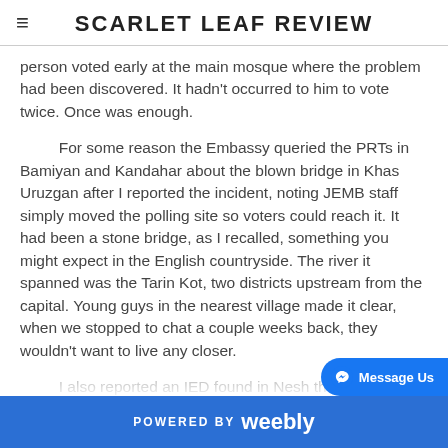SCARLET LEAF REVIEW
person voted early at the main mosque where the problem had been discovered. It hadn't occurred to him to vote twice. Once was enough.
For some reason the Embassy queried the PRTs in Bamiyan and Kandahar about the blown bridge in Khas Uruzgan after I reported the incident, noting JEMB staff simply moved the polling site so voters could reach it. It had been a stone bridge, as I recalled, something you might expect in the English countryside. The river it spanned was the Tarin Kot, two districts upstream from the capital. Young guys in the nearest village made it clear, when we stopped to chat a couple weeks back, they wouldn't want to live any closer.
I also reported an IED found in Nesh the day before, another in Deh Rawud...
POWERED BY weebly